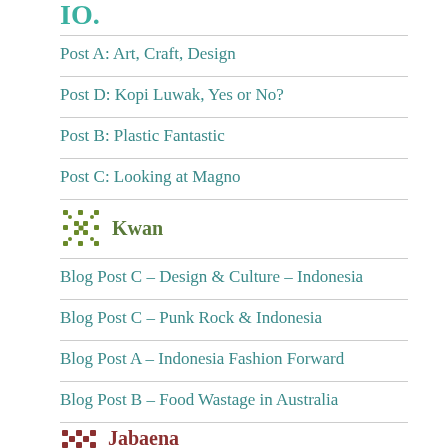IO.
Post A: Art, Craft, Design
Post D: Kopi Luwak, Yes or No?
Post B: Plastic Fantastic
Post C: Looking at Magno
Kwan
Blog Post C – Design & Culture – Indonesia
Blog Post C – Punk Rock & Indonesia
Blog Post A – Indonesia Fashion Forward
Blog Post B – Food Wastage in Australia
Jabaena